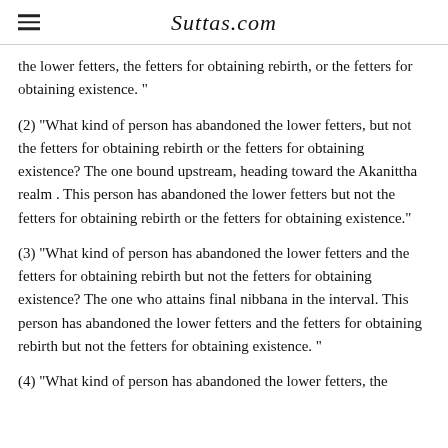Suttas.com
the lower fetters, the fetters for obtaining rebirth, or the fetters for obtaining existence. "
(2) "What kind of person has abandoned the lower fetters, but not the fetters for obtaining rebirth or the fetters for obtaining existence? The one bound upstream, heading toward the Akanittha realm . This person has abandoned the lower fetters but not the fetters for obtaining rebirth or the fetters for obtaining existence."
(3) "What kind of person has abandoned the lower fetters and the fetters for obtaining rebirth but not the fetters for obtaining existence? The one who attains final nibbana in the interval. This person has abandoned the lower fetters and the fetters for obtaining rebirth but not the fetters for obtaining existence. "
(4) "What kind of person has abandoned the lower fetters, the